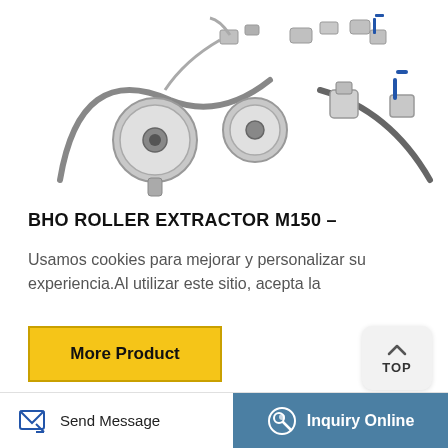[Figure (photo): BHO roller extractor components — valves, gauges, fittings, hoses, and connectors on white background (top portion of product spread)]
BHO ROLLER EXTRACTOR M150 –
Usamos cookies para mejorar y personalizar su experiencia.Al utilizar este sitio, acepta la
[Figure (other): More Product button — yellow button with black bold text]
[Figure (other): TOP button — light grey rounded button with up arrow and TOP label]
[Figure (photo): Close-up photo of stainless steel ball valve assembly with blue handles and brass fittings]
Send Message   Inquiry Online